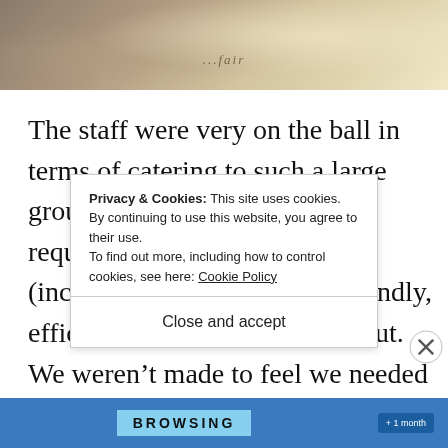[Figure (photo): Top portion of a food/dining photo showing plates and utensils on a table, partially cropped]
The staff were very on the ball in terms of catering to such a large group and all the dietary requirements that involves (including mine), and were friendly, efficient and pleasant throughout. We weren't made to feel we needed to rush out of the space, and they were generous with the t...
Privacy & Cookies: This site uses cookies. By continuing to use this website, you agree to their use.
To find out more, including how to control cookies, see here: Cookie Policy
Close and accept
[Figure (screenshot): Bottom advertisement bar with BROWSING text and subscription button]